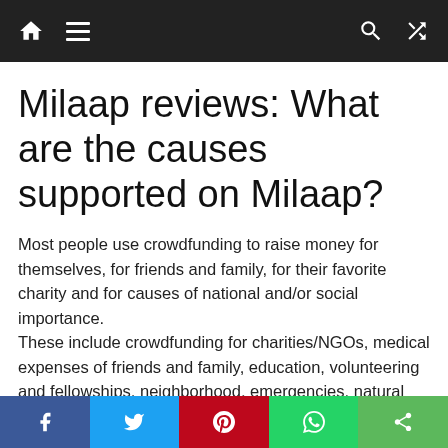Navigation bar with home, menu, search, and shuffle icons
Milaap reviews: What are the causes supported on Milaap?
Most people use crowdfunding to raise money for themselves, for friends and family, for their favorite charity and for causes of national and/or social importance.
These include crowdfunding for charities/NGOs, medical expenses of friends and family, education, volunteering and fellowships, neighborhood, emergencies, natural disasters,
Social share bar: Facebook, Twitter, Pinterest, WhatsApp, Share